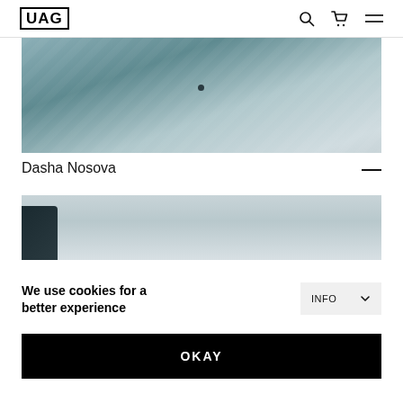UAG
[Figure (photo): Close-up photo of a person wearing a quilted teal/blue jacket, torso view]
Dasha Nosova
[Figure (photo): Partial photo with light grey background and dark object at left edge]
We use cookies for a better experience
INFO
OKAY